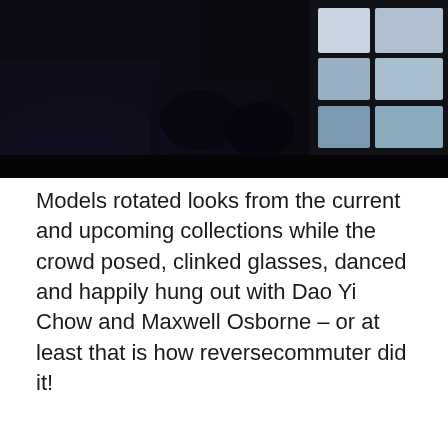[Figure (photo): Dark event/party scene photo showing a dimly lit venue with purple lighting visible in the background and some light-colored geometric shapes (possibly a bar or display) on the right side.]
Models rotated looks from the current and upcoming collections while the crowd posed, clinked glasses, danced and happily hung out with Dao Yi Chow and Maxwell Osborne – or at least that is how reversecommuter did it!
[Figure (photo): A model wearing a black chunky turtleneck sweater with wide draped sleeves, styled with a plaid skirt/wrap visible at the bottom hem, shot against a white background.]